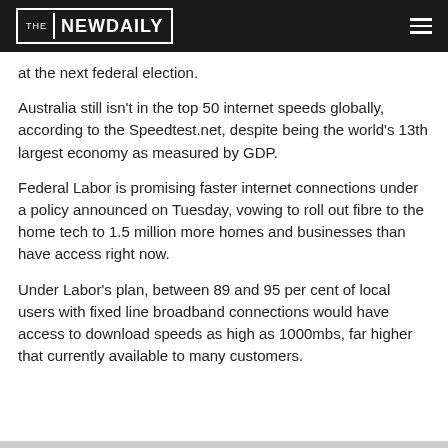THE NEW DAILY
at the next federal election.
Australia still isn't in the top 50 internet speeds globally, according to the Speedtest.net, despite being the world's 13th largest economy as measured by GDP.
Federal Labor is promising faster internet connections under a policy announced on Tuesday, vowing to roll out fibre to the home tech to 1.5 million more homes and businesses than have access right now.
Under Labor's plan, between 89 and 95 per cent of local users with fixed line broadband connections would have access to download speeds as high as 1000mbs, far higher that currently available to many customers.